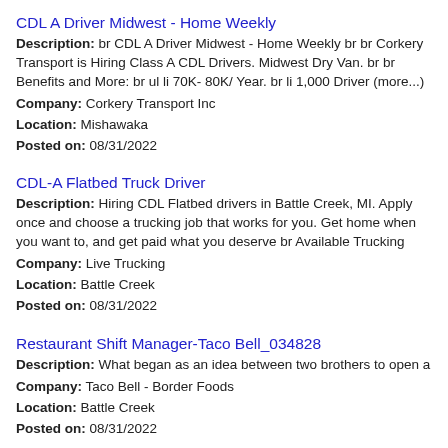CDL A Driver Midwest - Home Weekly
Description: br CDL A Driver Midwest - Home Weekly br br Corkery Transport is Hiring Class A CDL Drivers. Midwest Dry Van. br br Benefits and More: br ul li 70K- 80K/ Year. br li 1,000 Driver (more...)
Company: Corkery Transport Inc
Location: Mishawaka
Posted on: 08/31/2022
CDL-A Flatbed Truck Driver
Description: Hiring CDL Flatbed drivers in Battle Creek, MI. Apply once and choose a trucking job that works for you. Get home when you want to, and get paid what you deserve br Available Trucking
Company: Live Trucking
Location: Battle Creek
Posted on: 08/31/2022
Restaurant Shift Manager-Taco Bell_034828
Description: What began as an idea between two brothers to open a
Company: Taco Bell - Border Foods
Location: Battle Creek
Posted on: 08/31/2022
Travel Nurse RN - ED - Emergency Department - $3,012 per